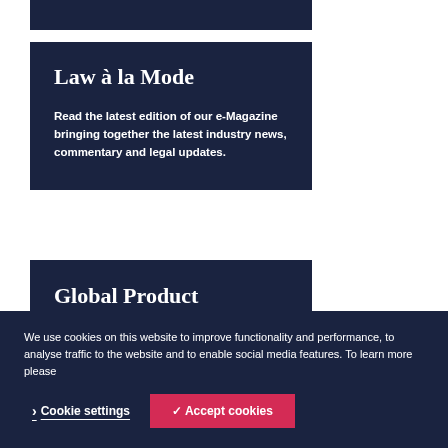Law à la Mode
Read the latest edition of our e-Magazine bringing together the latest industry news, commentary and legal updates.
Global Product Liability Guide
We use cookies on this website to improve functionality and performance, to analyse traffic to the website and to enable social media features. To learn more please
Cookie settings
✓ Accept cookies